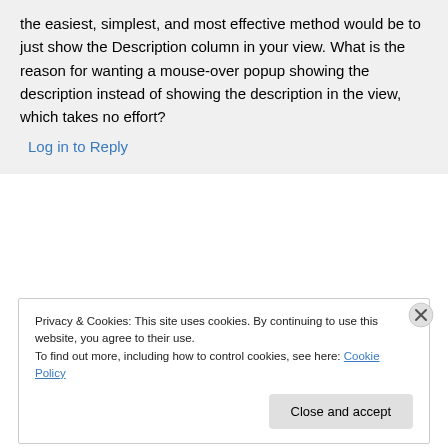the easiest, simplest, and most effective method would be to just show the Description column in your view. What is the reason for wanting a mouse-over popup showing the description instead of showing the description in the view, which takes no effort?
Log in to Reply
Privacy & Cookies: This site uses cookies. By continuing to use this website, you agree to their use.
To find out more, including how to control cookies, see here: Cookie Policy
Close and accept